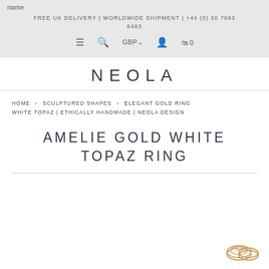name
FREE UK DELIVERY | WORLDWIDE SHIPMENT | +44 (0) 20 7693 6483
≡  🔍  GBP∨  👤  🛍 0
NEOLA
HOME » SCULPTURED SHAPES » ELEGANT GOLD RING WHITE TOPAZ | ETHICALLY HANDMADE | NEOLA DESIGN
AMELIE GOLD WHITE TOPAZ RING
[Figure (photo): Small ring jewellery icon in gold/cream tones at bottom right corner]